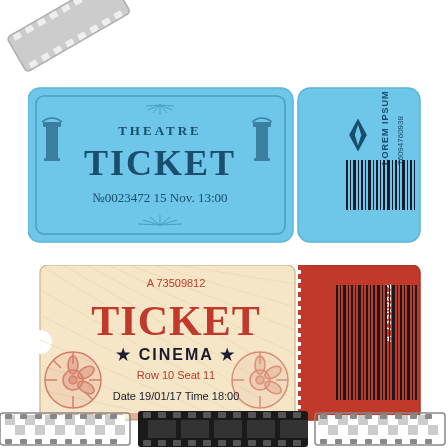[Figure (illustration): Film strip at top left corner, grey/white diagonal strip with film perforations]
[Figure (illustration): Blue theatre ticket with two parts: main ticket showing THEATRE TICKET No0023472 15 Nov. 13:00 with classical columns decoration, and stub with LOREM IPSUM 76094760938 text and barcode]
[Figure (illustration): Cream/beige cinema ticket with red stub: main ticket shows A 73509812, TICKET CINEMA, Row 10 Seat 11, Date 19/01/17 Time 18:00, film reel decoration. Stub shows A 73509812 with barcode. Left side has notch cutout.]
[Figure (illustration): Film strips along bottom of page, showing multiple film strip segments with perforations, some with checkerboard transparency pattern]